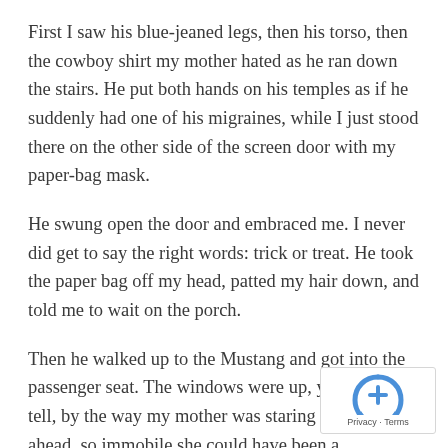First I saw his blue-jeaned legs, then his torso, then the cowboy shirt my mother hated as he ran down the stairs. He put both hands on his temples as if he suddenly had one of his migraines, while I just stood there on the other side of the screen door with my paper-bag mask.
He swung open the door and embraced me. I never did get to say the right words: trick or treat. He took the paper bag off my head, patted my hair down, and told me to wait on the porch.
Then he walked up to the Mustang and got into the passenger seat. The windows were up, yet I could tell, by the way my mother was staring straight ahead, so immobile she could have been a mannequin, that her anger was different this time. After what seemed like a half hour but was